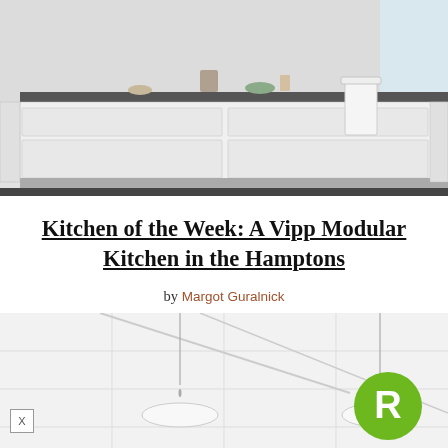[Figure (photo): Modern white kitchen with island, drawers, and trash can visible]
Kitchen of the Week: A Vipp Modular Kitchen in the Hamptons
by Margot Guralnick
[Figure (photo): White kitchen interior with hanging pendant lights and white tile walls]
[Figure (logo): Green circular badge with white letter R]